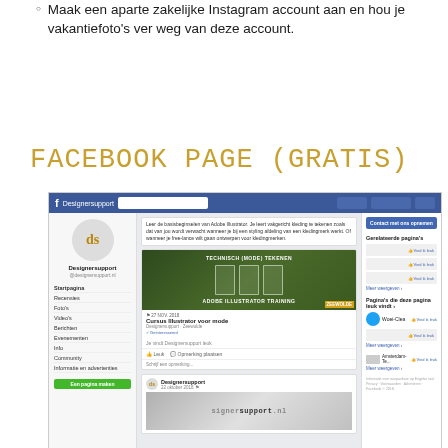Maak een aparte zakelijke Instagram account aan en hou je vakantiefoto's ver weg van deze account.
FACEBOOK PAGE (GRATIS)
[Figure (screenshot): Screenshot of a Facebook Page for Designersupport showing the page layout with navigation sidebar, a post about Adobe Illustrator training for fashion, and related pages in the right sidebar.]